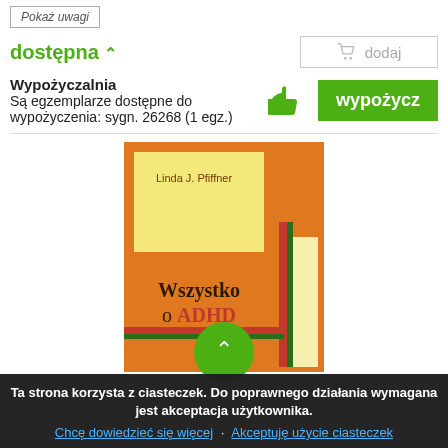Pokaż uwagi
dostępna ⇑
dodaj
Wypożyczalnia
Są egzemplarze dostępne do wypożyczenia: sygn. 26268 (1 egz.)
wypożycz
[Figure (photo): Book cover: 'Wszystko o ADHD' by Linda J. Pfiffner. Orange and yellow cover with red/green border details.]
Ta strona korzysta z ciasteczek. Do poprawnego działania wymagana jest akceptacja użytkownika.
Chcę dowiedzieć się więcej · Akceptuję użycie ciasteczek